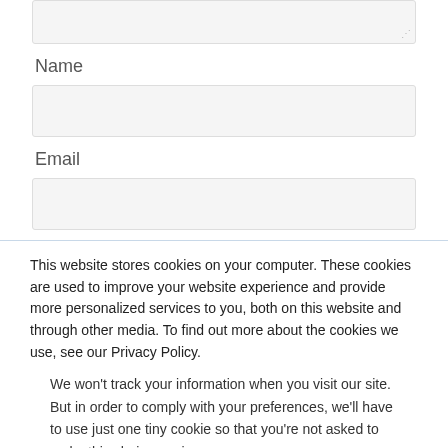[textarea field - top, partially visible]
Name
[Name input field]
Email
[Email input field]
This website stores cookies on your computer. These cookies are used to improve your website experience and provide more personalized services to you, both on this website and through other media. To find out more about the cookies we use, see our Privacy Policy.
We won't track your information when you visit our site. But in order to comply with your preferences, we'll have to use just one tiny cookie so that you're not asked to make this choice again.
Accept
Decline